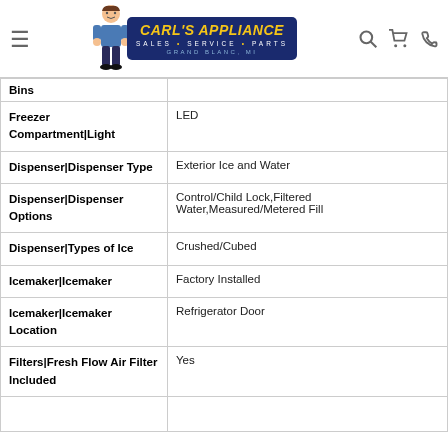Carl's Appliance — Sales · Service · Parts — Grand Blanc, MI
| Feature | Value |
| --- | --- |
| Bins |  |
| Freezer Compartment|Light | LED |
| Dispenser|Dispenser Type | Exterior Ice and Water |
| Dispenser|Dispenser Options | Control/Child Lock,Filtered Water,Measured/Metered Fill |
| Dispenser|Types of Ice | Crushed/Cubed |
| Icemaker|Icemaker | Factory Installed |
| Icemaker|Icemaker Location | Refrigerator Door |
| Filters|Fresh Flow Air Filter Included | Yes |
|  |  |